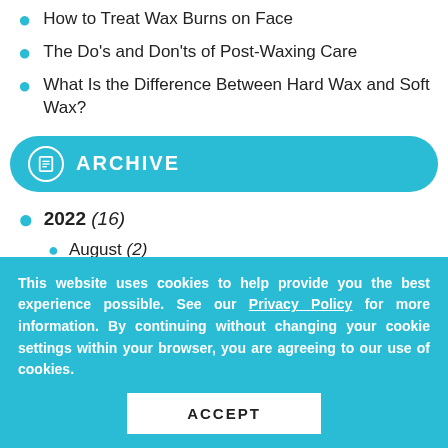How to Treat Wax Burns on Face
The Do's and Don'ts of Post-Waxing Care
What Is the Difference Between Hard Wax and Soft Wax?
ARCHIVE
2022 (16)
August (2)
July (2)
June (2)
This website uses cookies to help provide you the best experience possible. See our Privacy Policy for more information. By continuing without changing your cookie settings within your browser, you are agreeing to our use of cookies.